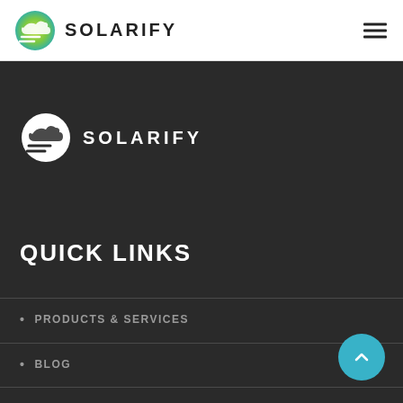SOLARIFY
[Figure (logo): Solarify logo - circular gradient icon with wind/cloud motif in green-yellow gradient, white version on dark background]
SOLARIFY
QUICK LINKS
PRODUCTS & SERVICES
BLOG